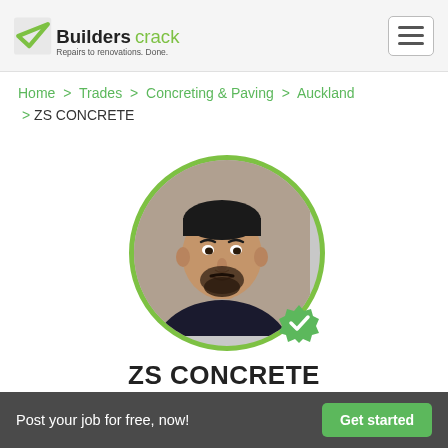Builderscrack — Repairs to renovations. Done.
Home > Trades > Concreting & Paving > Auckland > ZS CONCRETE
[Figure (photo): Circular profile photo of a man with short dark hair and a beard, wearing a dark jacket. A green verified checkmark badge is shown at the bottom right of the circle.]
ZS CONCRETE
✂ Concreting & Paving
Auckland
Post your job for free, now!
Get started